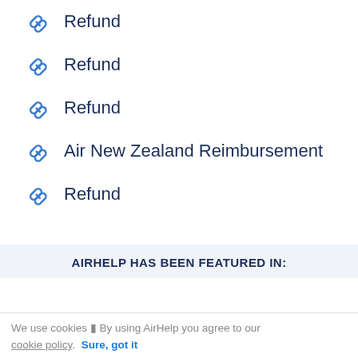Refund
Refund
Refund
Air New Zealand Reimbursement
Refund
AIRHELP HAS BEEN FEATURED IN:
We use cookies ▮ By using AirHelp you agree to our cookie policy.  Sure, got it